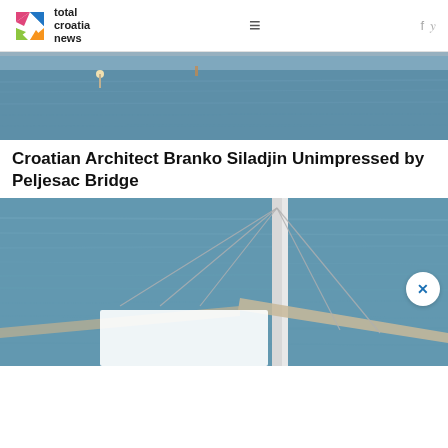total croatia news
[Figure (photo): Aerial or water-level photo of the Peljesac Bridge area showing sea water, partial view of bridge structure and a buoy]
Croatian Architect Branko Siladjin Unimpressed by Peljesac Bridge
[Figure (photo): Aerial photo of Peljesac Bridge showing bridge cables and pier rising from blue-green sea water with bridge deck visible]